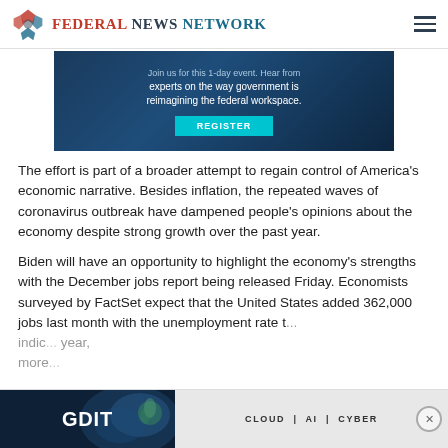FEDERAL NEWS NETWORK
[Figure (screenshot): Banner advertisement with dark blue background showing text 'Join us for this 1-day event. Hear from experts on the way government is reimagining the federal workspace.' with a teal REGISTER button]
The effort is part of a broader attempt to regain control of America's economic narrative. Besides inflation, the repeated waves of coronavirus outbreak have dampened people's opinions about the economy despite strong growth over the past year.
Biden will have an opportunity to highlight the economy's strengths with the December jobs report being released Friday. Economists surveyed by FactSet expect that the United States added 362,000 jobs last month with the unemployment rate t... indic... year, more...
[Figure (screenshot): GDIT advertisement banner showing 'CLOUD | AI | CYBER' with jellyfish image]